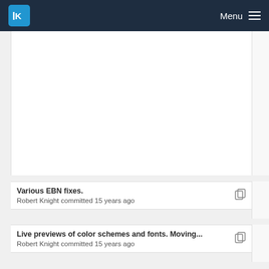KDE Menu
[Figure (screenshot): White content block area above commit list]
Various EBN fixes. Robert Knight committed 15 years ago
Live previews of color schemes and fonts. Moving... Robert Knight committed 15 years ago
unless I'm really missing something, this is a perf... Dirk Mueller committed 14 years ago
Delay the live preview of color schemes slightly. T...